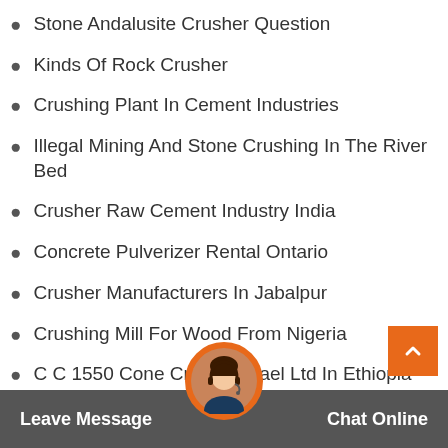Stone Andalusite Crusher Question
Kinds Of Rock Crusher
Crushing Plant In Cement Industries
Illegal Mining And Stone Crushing In The River Bed
Crusher Raw Cement Industry India
Concrete Pulverizer Rental Ontario
Crusher Manufacturers In Jabalpur
Crushing Mill For Wood From Nigeria
C C 1550 Cone Crusher Tra el Ltd In Ethiopia
Crusher Machine Foundatio culationfrom Kyrgyzstan
Leave Message   Chat Online